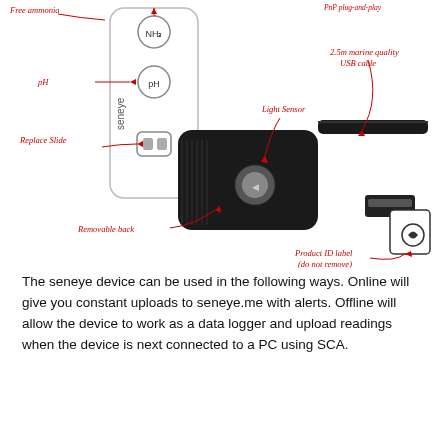[Figure (engineering-diagram): Annotated diagram of a Seneye aquarium monitoring device and USB cable. The device (shown in side and front views) has labels pointing to: Free ammonia (NH3), pH, Replace Slide (battery/slide compartment), Light Sensor, Removable back, Product ID label (do not remove), and 2.5m marine quality USB cable. Annotations are handwritten in red.]
The seneye device can be used in the following ways. Online will give you constant uploads to seneye.me with alerts. Offline will allow the device to work as a data logger and upload readings when the device is next connected to a PC using SCA.